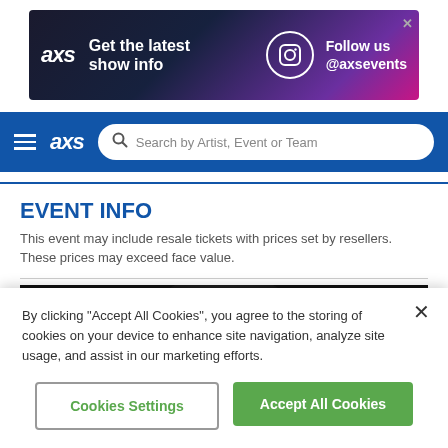[Figure (screenshot): AXS advertisement banner: dark purple/pink gradient background, AXS logo in white, text 'Get the latest show info', Instagram icon circle, 'Follow us @axsevents' text, X close button]
axs  Search by Artist, Event or Team
EVENT INFO
This event may include resale tickets with prices set by resellers. These prices may exceed face value.
[Figure (photo): Dark image strip showing a figure/performer, mostly black background]
By clicking “Accept All Cookies”, you agree to the storing of cookies on your device to enhance site navigation, analyze site usage, and assist in our marketing efforts.
Cookies Settings  Accept All Cookies